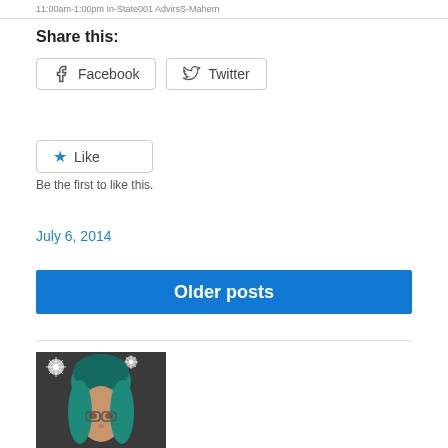11:00am-1:00pm In-State001 AdvirsS-Mahern
Share this:
Facebook  Twitter
Like
Be the first to like this.
July 6, 2014
Older posts
[Figure (photo): Portrait photo of a person with teal/green hair and glasses]